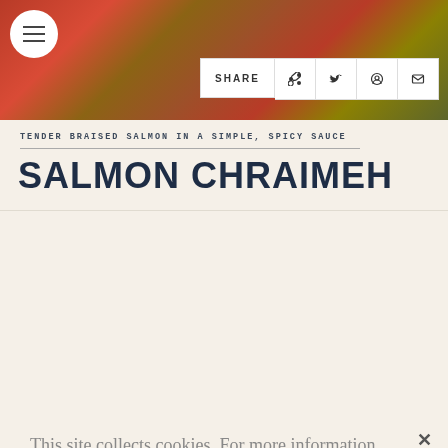[Figure (photo): Close-up photo of salmon chraimeh dish – fish fillets with red tomato-based spicy sauce garnished with capers and herbs]
SHARE
TENDER BRAISED SALMON IN A SIMPLE, SPICY SAUCE
SALMON CHRAIMEH
This site collects cookies. For more information
Cookies Settings
ACCEPT ALL COOKIES